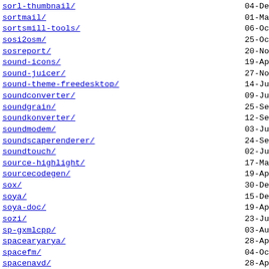sorl-thumbnail/   04-Dec
sortmail/   01-May
sortsmill-tools/   06-Oct
sosi2osm/   25-Oct
sosreport/   20-Nov
sound-icons/   19-Apr
sound-juicer/   27-Nov
sound-theme-freedesktop/   14-Jul
soundconverter/   09-Jun
soundgrain/   25-Sep
soundkonverter/   12-Sep
soundmodem/   03-Jun
soundscaperenderer/   24-Sep
soundtouch/   02-Jul
source-highlight/   17-Mar
sourcecodegen/   19-Apr
sox/   30-Dec
soya/   15-Dec
soya-doc/   19-Apr
sozi/   23-Jun
sp-gxmlcpp/   03-Aug
spacearyarya/   28-Apr
spacefm/   04-Oct
spacenavd/   28-Apr
spacezero/   13-May
spamass-milter/   07-Jul
spamassassin/   10-Jan
spamassassin-heatu/   19-Apr
spambayes/   04-Jul
spamoracle/   12-Dec